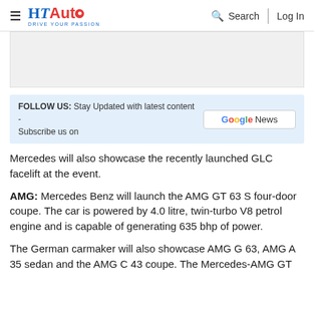HT Auto - Drive Your Passion
[Figure (other): Gray advertisement placeholder banner]
FOLLOW US: Stay Updated with latest content - Subscribe us on [Google News button]
Mercedes will also showcase the recently launched GLC facelift at the event.
AMG: Mercedes Benz will launch the AMG GT 63 S four-door coupe. The car is powered by 4.0 litre, twin-turbo V8 petrol engine and is capable of generating 635 bhp of power.
The German carmaker will also showcase AMG G 63, AMG A 35 sedan and the AMG C 43 coupe. The Mercedes-AMG GT